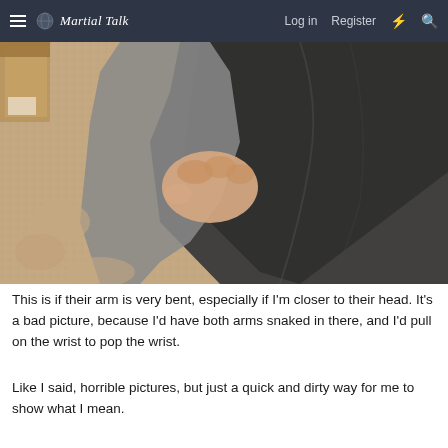Martial Talk — Log in   Register
[Figure (photo): Close-up photo of a hand gripping and pulling back dark fabric (clothing), with beige carpet visible in the background. The scene illustrates a martial arts wrist-popping technique demonstration.]
This is if their arm is very bent, especially if I'm closer to their head. It's a bad picture, because I'd have both arms snaked in there, and I'd pull on the wrist to pop the wrist.
Like I said, horrible pictures, but just a quick and dirty way for me to show what I mean.